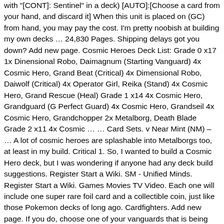with "[CONT]: Sentinel" in a deck) [AUTO]:[Choose a card from your hand, and discard it] When this unit is placed on (GC) from hand, you may pay the cost. I'm pretty noobish at building my own decks … 24,830 Pages. Shipping delays got you down? Add new page. Cosmic Heroes Deck List: Grade 0 x17 1x Dinensional Robo, Daimagnum (Starting Vanguard) 4x Cosmic Hero, Grand Beat (Critical) 4x Dimensional Robo, Daiwolf (Critical) 4x Operator Girl, Reika (Stand) 4x Cosmic Hero, Grand Rescue (Heal) Grade 1 x14 4x Cosmic Hero, Grandguard (G Perfect Guard) 4x Cosmic Hero, Grandseil 4x Cosmic Hero, Grandchopper 2x Metalborg, Death Blade Grade 2 x11 4x Cosmic … … Card Sets. v Near Mint (NM) – … A lot of cosmic heroes are splashable into Metalborgs too, at least in my build. Critical 1. So, I wanted to build a Cosmic Hero deck, but I was wondering if anyone had any deck build suggestions. Register Start a Wiki. SM - Unified Minds. Register Start a Wiki. Games Movies TV Video. Each one will include one super rare foil card and a collectible coin, just like those Pokemon decks of long ago. Cardfighters. Add new page. If you do, choose one of your vanguards that is being attacked, and that unit cannot be hit until end of that battle. Tweeter. Latest. His Generation Break grants him an additional drive check if his power is 22,000 or greater when he attacks a vanguard. Wikia. Add new page. View All Listings with